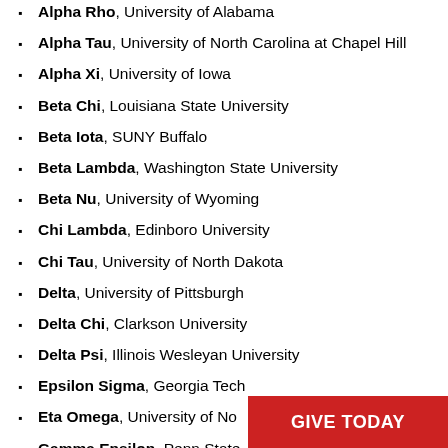Alpha Rho, University of Alabama
Alpha Tau, University of North Carolina at Chapel Hill
Alpha Xi, University of Iowa
Beta Chi, Louisiana State University
Beta Iota, SUNY Buffalo
Beta Lambda, Washington State University
Beta Nu, University of Wyoming
Chi Lambda, Edinboro University
Chi Tau, University of North Dakota
Delta, University of Pittsburgh
Delta Chi, Clarkson University
Delta Psi, Illinois Wesleyan University
Epsilon Sigma, Georgia Tech
Eta Omega, University of No[rth Carolina]
Gamma Epsilon, Penn State[…]